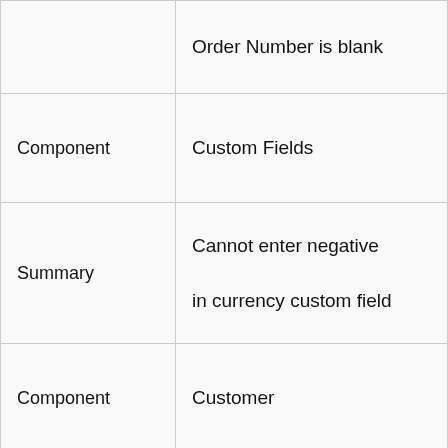|  |  |
| --- | --- |
|  | Order Number is blank |
| Component | Custom Fields |
| Summary | Cannot enter negative in currency custom field |
| Component | Customer |
| Summary | Resize or Maximize the Customer Information window |
| Component |  |